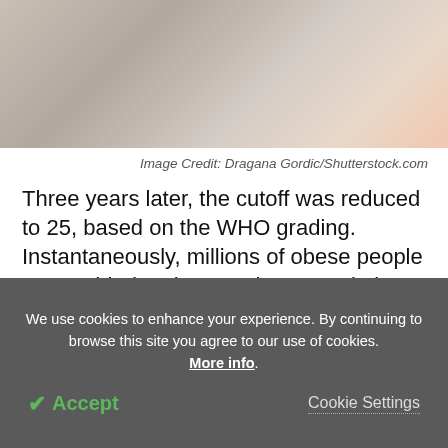[Figure (photo): Partial photo of a tape measure and pencil on a light surface, cropped at top]
Image Credit: Dragana Gordic/Shutterstock.com
Three years later, the cutoff was reduced to 25, based on the WHO grading. Instantaneously, millions of obese people were added to the American population. This led to the perception and documentation of rising obesity rates in America, to the point that half or more of the adult population today is designated overweight or obese, despite making up a large part of the normal
We use cookies to enhance your experience. By continuing to browse this site you agree to our use of cookies. More info. Accept Cookie Settings